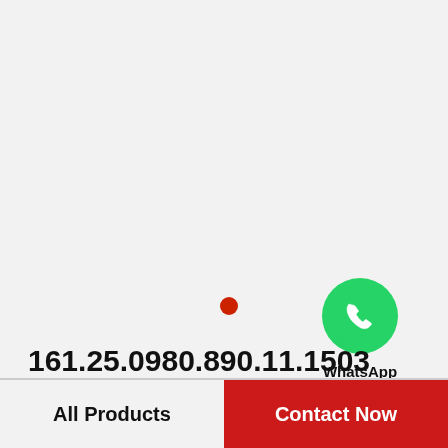[Figure (logo): WhatsApp green circle logo icon with white phone handset]
WhatsApp Online
[Figure (other): Small red filled circle dot]
161.25.0980.890.11.1503 Standard 5 Slewing Ring Bearings
All Products    Contact Now